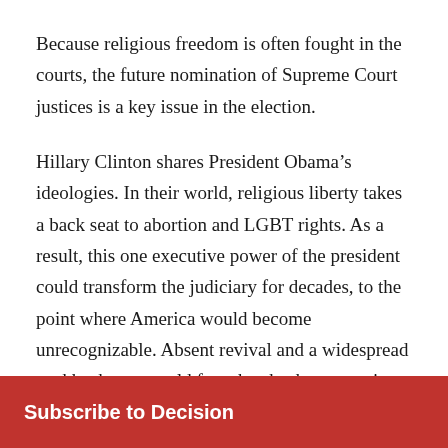Because religious freedom is often fought in the courts, the future nomination of Supreme Court justices is a key issue in the election.
Hillary Clinton shares President Obama’s ideologies. In their world, religious liberty takes a back seat to abortion and LGBT rights. As a result, this one executive power of the president could transform the judiciary for decades, to the point where America would become unrecognizable. Absent revival and a widespread pushback, we would face the checkmate against Judeo-Christian values in America.
Subscribe to Decision